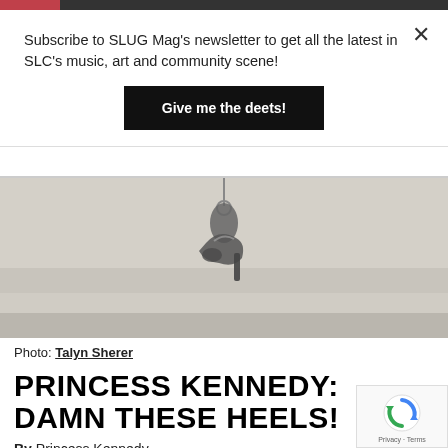Subscribe to SLUG Mag's newsletter to get all the latest in SLC's music, art and community scene!
Give me the deets!
[Figure (photo): A high-heeled shoe hanging upside down from a hook or bar, photographed against a light neutral background.]
Photo: Talyn Sherer
PRINCESS KENNEDY: DAMN THESE HEELS!
By Princess Kennedy
June 27, 2014